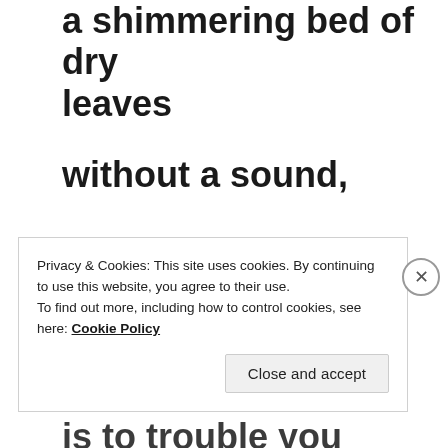a shimmering bed of dry leaves without a sound, you come to a place whose only task is to trouble you
Privacy & Cookies: This site uses cookies. By continuing to use this website, you agree to their use.
To find out more, including how to control cookies, see here: Cookie Policy